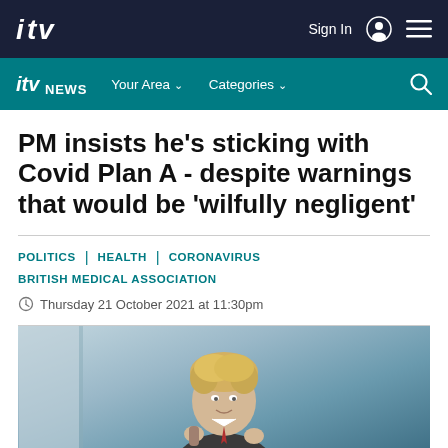ITV - Sign In - Menu
ITV NEWS - Your Area - Categories - Search
PM insists he's sticking with Covid Plan A - despite warnings that would be 'wilfully negligent'
POLITICS | HEALTH | CORONAVIRUS
BRITISH MEDICAL ASSOCIATION
Thursday 21 October 2021 at 11:30pm
[Figure (photo): Photo of Boris Johnson, blonde hair, holding an object, in front of a blue/grey background]